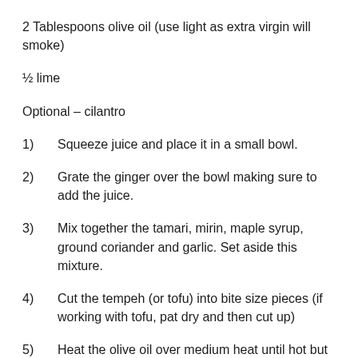2 Tablespoons olive oil (use light as extra virgin will smoke)
½ lime
Optional – cilantro
1)   Squeeze juice and place it in a small bowl.
2)   Grate the ginger over the bowl making sure to add the juice.
3)   Mix together the tamari, mirin, maple syrup, ground coriander and garlic. Set aside this mixture.
4)   Cut the tempeh (or tofu) into bite size pieces (if working with tofu, pat dry and then cut up)
5)   Heat the olive oil over medium heat until hot but not